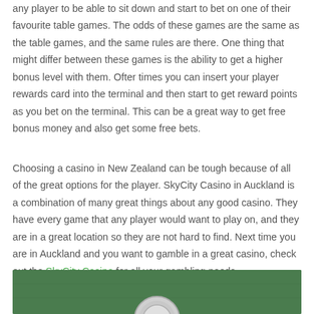any player to be able to sit down and start to bet on one of their favourite table games. The odds of these games are the same as the table games, and the same rules are there. One thing that might differ between these games is the ability to get a higher bonus level with them. Ofter times you can insert your player rewards card into the terminal and then start to get reward points as you bet on the terminal. This can be a great way to get free bonus money and also get some free bets.
Choosing a casino in New Zealand can be tough because of all of the great options for the player. SkyCity Casino in Auckland is a combination of many great things about any good casino. They have every game that any player would want to play on, and they are in a great location so they are not hard to find. Next time you are in Auckland and you want to gamble in a great casino, check out the SkyCity Casino for all your gambling needs.
[Figure (photo): A green casino table surface with a casino chip visible at the bottom center of the image.]